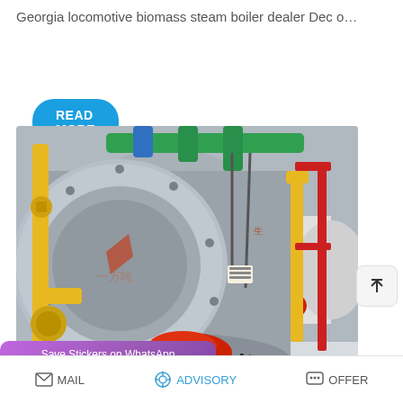Georgia locomotive biomass steam boiler dealer Dec o…
READ MORE
[Figure (photo): Industrial steam boiler room with large cylindrical boiler, yellow gas pipes, red burner assembly, green overhead pipes, and red metal framework visible in background.]
Save Stickers on WhatsApp
ult -
MAIL   ADVISORY   OFFER